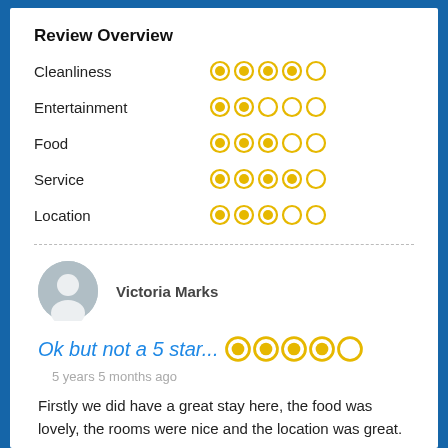Review Overview
Cleanliness — 4.5/5 stars
Entertainment — 2/5 stars
Food — 3/5 stars
Service — 4.5/5 stars
Location — 3/5 stars
Victoria Marks
Ok but not a 5 star...
5 years 5 months ago
Firstly we did have a great stay here, the food was lovely, the rooms were nice and the location was great. Some